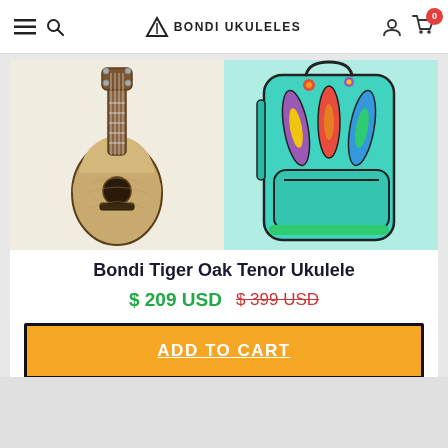Bondi Ukuleles — navigation header with menu, search, account, and cart (0 items)
[Figure (photo): Product card showing two images: left is a Bondi Tiger Oak Tenor Ukulele (wooden body, natural tiger oak finish), right is a colorful surfboard-pattern ukulele gig bag in teal/turquoise]
Bondi Tiger Oak Tenor Ukulele
$ 209 USD  $ 399 USD (strikethrough)
ADD TO CART